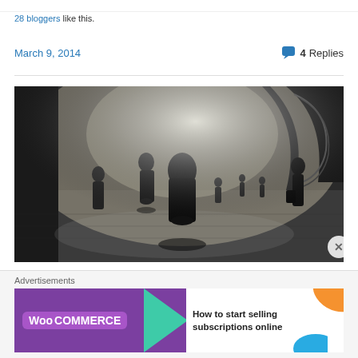28 bloggers like this.
March 9, 2014   4 Replies
[Figure (photo): Black and white atmospheric photograph of silhouetted people standing on a cobblestone street with dramatic misty backlighting and architectural archway in background]
Advertisements
[Figure (screenshot): WooCommerce advertisement banner: 'How to start selling subscriptions online']